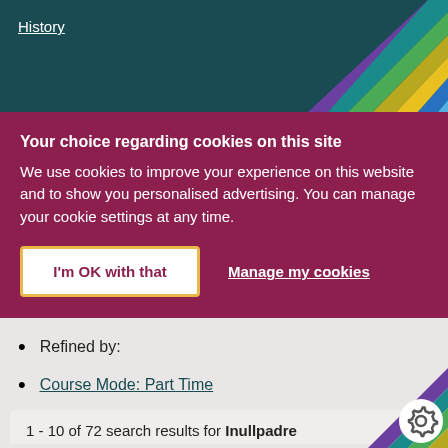History
Your choice regarding cookies on this site
We use cookies to improve your experience on this website and to show you personalised advertising. You can manage your cookie settings at any time.
I'm OK with that
Manage my cookies
Refined by:
Course Mode: Part Time
1 - 10 of 72 search results for Inullpadre